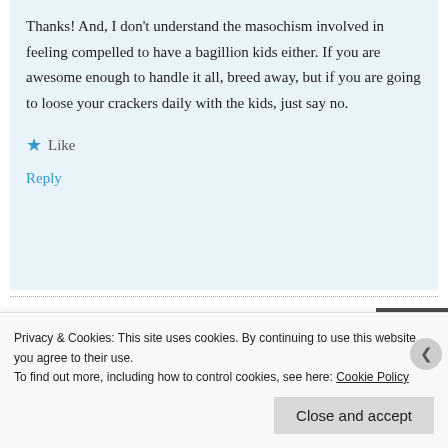Thanks! And, I don't understand the masochism involved in feeling compelled to have a bagillion kids either. If you are awesome enough to handle it all, breed away, but if you are going to loose your crackers daily with the kids, just say no.
★ Like
Reply
Deborah the Closet Monster
June 5, 2014 at 2:21 pm
[Figure (photo): Avatar photo of a woman in a black top]
Privacy & Cookies: This site uses cookies. By continuing to use this website, you agree to their use.
To find out more, including how to control cookies, see here: Cookie Policy
Close and accept